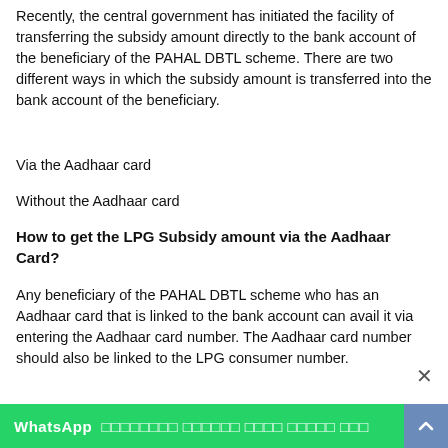Recently, the central government has initiated the facility of transferring the subsidy amount directly to the bank account of the beneficiary of the PAHAL DBTL scheme. There are two different ways in which the subsidy amount is transferred into the bank account of the beneficiary.
Via the Aadhaar card
Without the Aadhaar card
How to get the LPG Subsidy amount via the Aadhaar Card?
Any beneficiary of the PAHAL DBTL scheme who has an Aadhaar card that is linked to the bank account can avail it via entering the Aadhaar card number. The Aadhaar card number should also be linked to the LPG consumer number.
WhatsApp ☐☐☐☐☐☐☐☐ ☐☐☐☐☐☐ ☐☐☐☐ ☐☐☐☐☐ ☐☐☐